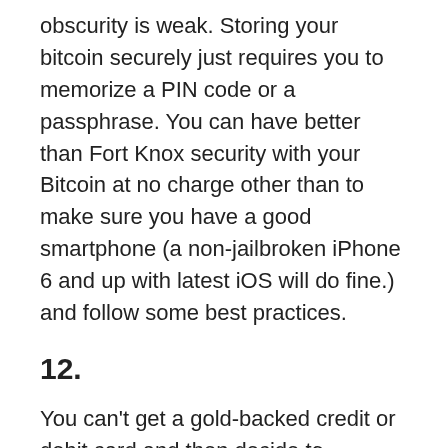obscurity is weak. Storing your bitcoin securely just requires you to memorize a PIN code or a passphrase. You can have better than Fort Knox security with your Bitcoin at no charge other than to make sure you have a good smartphone (a non-jailbroken iPhone 6 and up with latest iOS will do fine.) and follow some best practices.
12.
You can't get a gold-backed credit or debit card and then decide to instantly load it up with some of your gold stash.
13.
You can't buy and sell gold at ATMs across the world. You